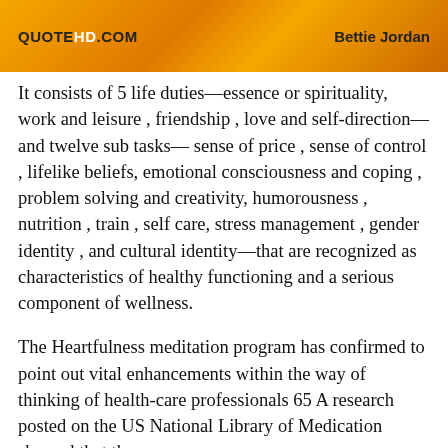QUOTEHD.COM | Bettie Jordan
It consists of 5 life duties—essence or spirituality, work and leisure , friendship , love and self-direction—and twelve sub tasks— sense of price , sense of control , lifelike beliefs, emotional consciousness and coping , problem solving and creativity, humorousness , nutrition , train , self care, stress management , gender identity , and cultural identity—that are recognized as characteristics of healthy functioning and a serious component of wellness.
The Heartfulness meditation program has confirmed to point out vital enhancements within the way of thinking of health-care professionals 65 A research posted on the US National Library of Medication showed that these